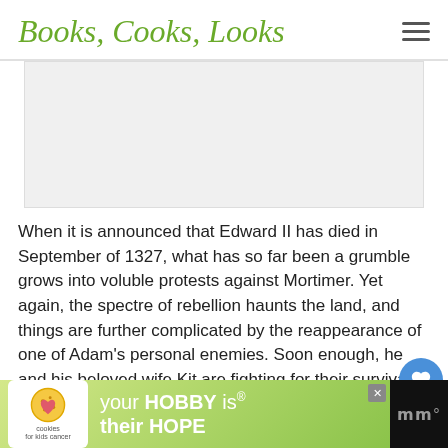Books, Cooks, Looks
[Figure (photo): Book cover or article image placeholder (light gray rectangle)]
When it is announced that Edward II has died in September of 1327, what has so far been a grumble grows into voluble protests against Mortimer. Yet again, the spectre of rebellion haunts the land, and things are further complicated by the reappearance of one of Adam’s personal enemies. Soon enough, he and his beloved wife Kit are fighting for their survival – even more so when Adam is given a task that puts them both in
[Figure (infographic): Advertisement banner: cookies for kids cancer, your HOBBY is their HOPE]